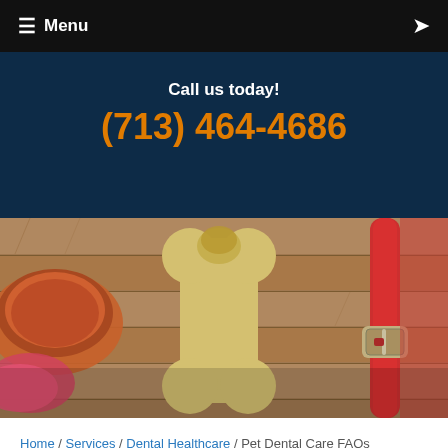Menu
Call us today!
(713) 464-4686
[Figure (photo): Pet dental care items on a wooden surface: a pet food bowl, a yellow bone-shaped dental chew toy, a red leather collar with silver buckle, and other items arranged on wooden slats.]
Home / Services / Dental Healthcare / Pet Dental Care FAQs